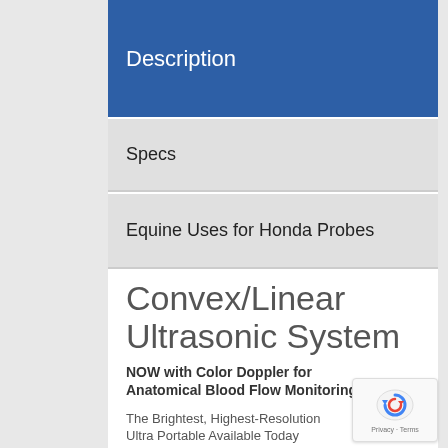Description
Specs
Equine Uses for Honda Probes
Convex/Linear Ultrasonic System
NOW with Color Doppler for Anatomical Blood Flow Monitoring
The Brightest, Highest-Resolution Ultra Portable Available Today
Easy to carry, compact body – only weighs
3KG